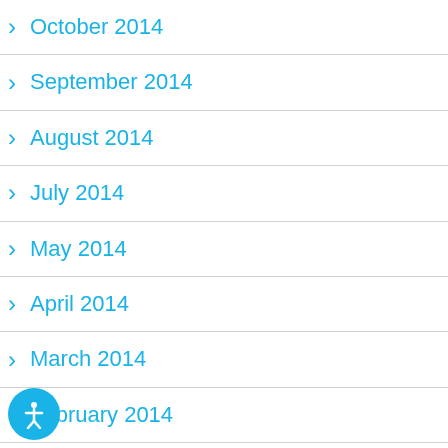October 2014
September 2014
August 2014
July 2014
May 2014
April 2014
March 2014
February 2014
January 2014